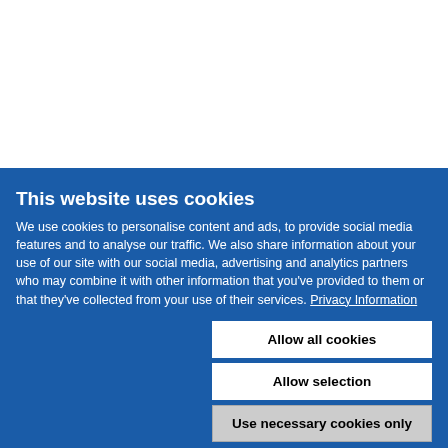[Figure (other): White blank area at top of page]
This website uses cookies
We use cookies to personalise content and ads, to provide social media features and to analyse our traffic. We also share information about your use of our site with our social media, advertising and analytics partners who may combine it with other information that you've provided to them or that they've collected from your use of their services. Privacy Information
Allow all cookies
Allow selection
Use necessary cookies only
Necessary  Preferences  Statistics  Marketing  Show details